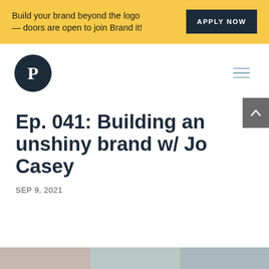Build your brand beyond the logo — doors are open to join Brand it!
APPLY NOW
[Figure (logo): Dark navy circle with white serif letter P logo]
Ep. 041: Building an unshiny brand w/ Jo Casey
SEP 9, 2021
[Figure (photo): Partial photo strip at bottom of page]